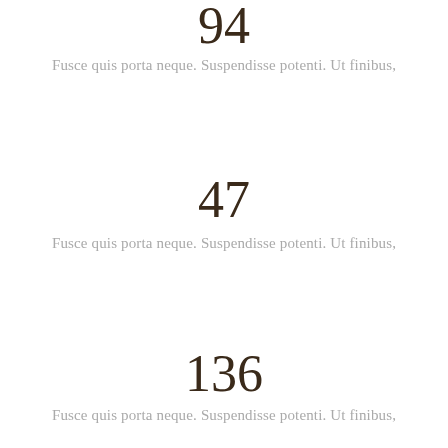94
Fusce quis porta neque. Suspendisse potenti. Ut finibus,
47
Fusce quis porta neque. Suspendisse potenti. Ut finibus,
136
Fusce quis porta neque. Suspendisse potenti. Ut finibus,